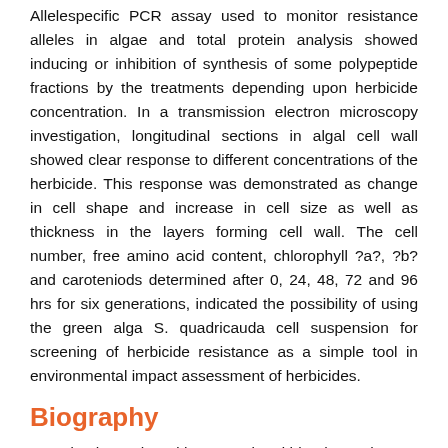Allelespecific PCR assay used to monitor resistance alleles in algae and total protein analysis showed inducing or inhibition of synthesis of some polypeptide fractions by the treatments depending upon herbicide concentration. In a transmission electron microscopy investigation, longitudinal sections in algal cell wall showed clear response to different concentrations of the herbicide. This response was demonstrated as change in cell shape and increase in cell size as well as thickness in the layers forming cell wall. The cell number, free amino acid content, chlorophyll ?a?, ?b? and caroteniods determined after 0, 24, 48, 72 and 96 hrs for six generations, indicated the possibility of using the green alga S. quadricauda cell suspension for screening of herbicide resistance as a simple tool in environmental impact assessment of herbicides.
Biography
Sayed Ashour Ahmed has completed his PhD at the age of 35 years from Weed Science Laboratory, Faculty of Agriculture, Kyoto University, Japan. He is an Emeritus Professor at Plant Protection Dept of Faculty of Agriculture, Assiut University, Egypt. After 45 years working (research and education) he has...